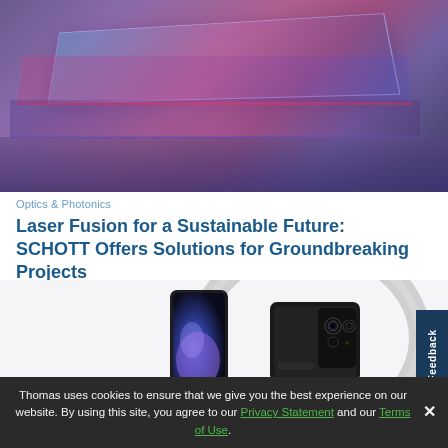[Figure (photo): Colorful optical glass or filter plates stacked on a reflective surface with purple, pink, and blue hues]
Optics & Photonics
Laser Fusion for a Sustainable Future: SCHOTT Offers Solutions for Groundbreaking Projects
[Figure (photo): Two smartphones displayed with a circular ring, showing front and back views with camera lenses]
Thomas uses cookies to ensure that we give you the best experience on our website. By using this site, you agree to our Privacy Statement and our Terms of Use.